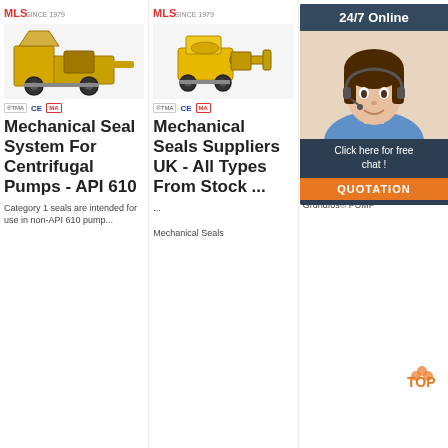[Figure (photo): MLS brand logo with red text and 'SINCE 1979' text, above a yellow/orange construction pump machine on wheels]
Mechanical Seal System For Centrifugal Pumps - API 610
Category 1 seals are intended for use in non-API 610 pump...
[Figure (photo): MLS brand logo with red text and 'SINCE 1979' text, above a yellow construction pump machine]
Mechanical Seals Suppliers UK - All Types From Stock ...
... Mechanical Seals
[Figure (photo): MLS brand logo, excavator/crane machine image, overlaid with 24/7 Online chat widget showing a female agent with headset, Click here for free chat text, and QUOTATION button]
Grundfos® PUMP SEAL KIT ... - SA Mechanical
Grundfos® PUMP